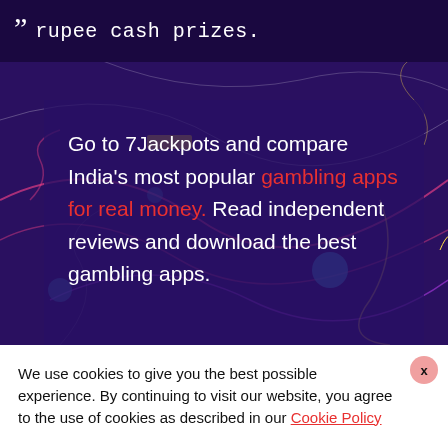rupee cash prizes.
[Figure (illustration): Dark purple decorative background with colorful neon lines, circles, and abstract gaming/casino illustrations including cricket and various symbols]
Go to 7Jackpots and compare India's most popular gambling apps for real money. Read independent reviews and download the best gambling apps.
We use cookies to give you the best possible experience. By continuing to visit our website, you agree to the use of cookies as described in our Cookie Policy